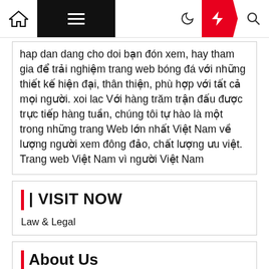Navigation bar with home, menu, moon, bolt, search icons
hap dan dang cho doi ban don xem, hay tham gia de trai nghiem trang web bong da voi nhung thiet ke hien dai, than thien, phu hop voi tat ca moi nguoi. xoi lac Voi hang tram tran dau duoc truc tiep hang tuan, chung toi tu hao la mot trong nhung trang Web lon nhat Viet Nam ve luong nguoi xem dong dao, chat luong uu viet. Trang web Viet Nam vi nguoi Viet Nam
| VISIT NOW
Law & Legal
About Us
Advertise Here